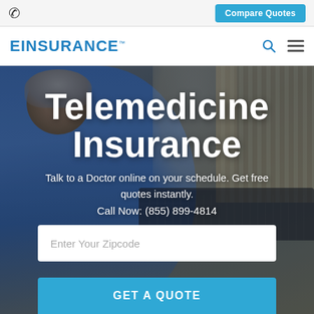📞  Compare Quotes
EINSURANCE™
[Figure (photo): Elderly person sitting at a laptop computer, wearing a blue sweater and head wrap, with a radiator/window in the background. Background image for telemedicine insurance landing page.]
Telemedicine Insurance
Talk to a Doctor online on your schedule. Get free quotes instantly.
Call Now: (855) 899-4814
Enter Your Zipcode
GET A QUOTE